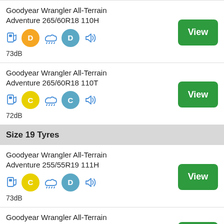Goodyear Wrangler All-Terrain Adventure 265/60R18 110H — Fuel: D, Wet: D, Sound: 73dB
Goodyear Wrangler All-Terrain Adventure 265/60R18 110T — Fuel: C, Wet: C, Sound: 72dB
Size 19 Tyres
Goodyear Wrangler All-Terrain Adventure 255/55R19 111H — Fuel: C, Wet: D, Sound: 73dB
Goodyear Wrangler All-Terrain Adventure 255/65R19 114H — Fuel: C, Wet: C